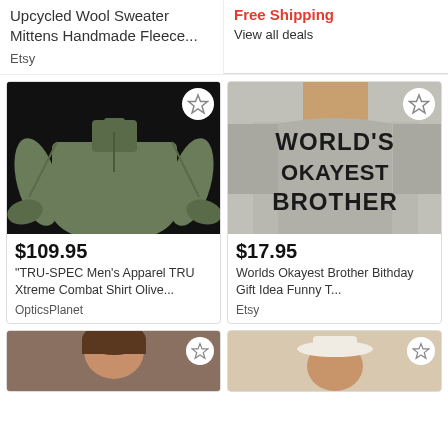Upcycled Wool Sweater Mittens Handmade Fleece...
Etsy
Free Shipping
View all deals
[Figure (photo): Olive green military-style quarter-zip combat shirt on black background]
$109.95
"TRU-SPEC Men's Apparel TRU Xtreme Combat Shirt Olive...
OpticsPlanet
[Figure (photo): Gray t-shirt reading WORLD'S OKAYEST BROTHER in bold black text, worn by a person]
$17.95
Worlds Okayest Brother Bithday Gift Idea Funny T...
Etsy
[Figure (photo): Partial view of person with brown hair wearing hat, bottom of page]
[Figure (photo): Partial view of person wearing white hat, bottom of page]